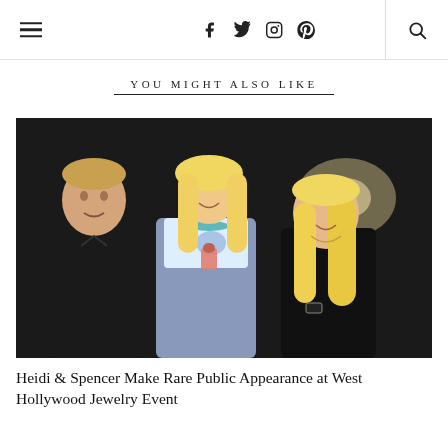Navigation header with hamburger menu, social icons (f, Twitter, Instagram, Pinterest), and search icon
YOU MIGHT ALSO LIKE
[Figure (photo): Three people posing together at a nighttime event: a man in a black shirt on the left, a tall blonde woman in a blue/gray dress and teal necklace in the center holding a small figurine, and a blonde woman in a black dress on the right smiling.]
Heidi & Spencer Make Rare Public Appearance at West Hollywood Jewelry Event